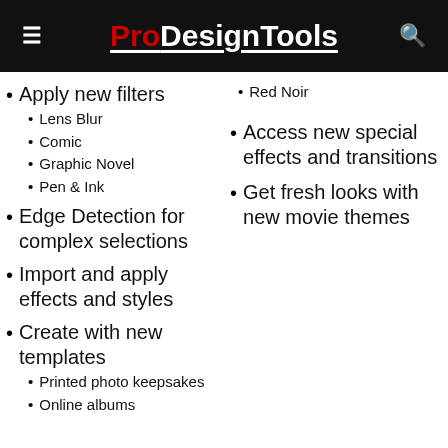ProDesignTools
Apply new filters
Lens Blur
Comic
Graphic Novel
Pen & Ink
Edge Detection for complex selections
Import and apply effects and styles
Create with new templates
Printed photo keepsakes
Online albums
Red Noir
Access new special effects and transitions
Get fresh looks with new movie themes